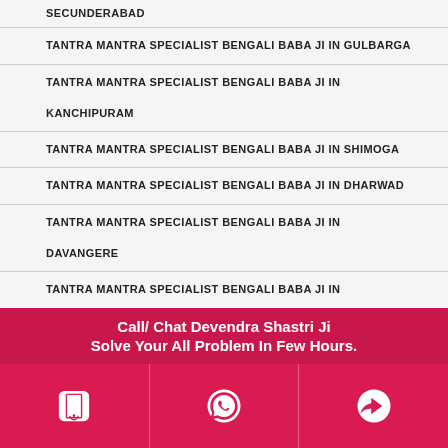SECUNDERABAD
TANTRA MANTRA SPECIALIST BENGALI BABA JI IN GULBARGA
TANTRA MANTRA SPECIALIST BENGALI BABA JI IN KANCHIPURAM
TANTRA MANTRA SPECIALIST BENGALI BABA JI IN SHIMOGA
TANTRA MANTRA SPECIALIST BENGALI BABA JI IN DHARWAD
TANTRA MANTRA SPECIALIST BENGALI BABA JI IN DAVANGERE
TANTRA MANTRA SPECIALIST BENGALI BABA JI IN AMARAVATHI
Call/ Chat Devendra Shastri Ji
Solve Your All Problem In Few Hours.